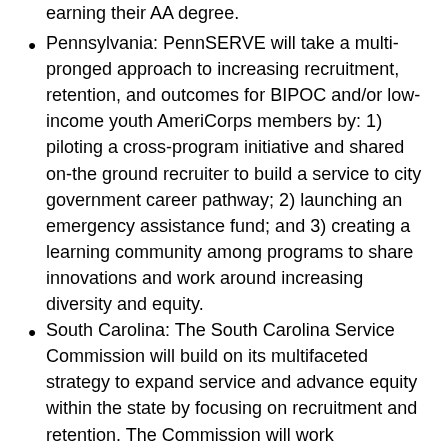earning their AA degree.
Pennsylvania: PennSERVE will take a multi-pronged approach to increasing recruitment, retention, and outcomes for BIPOC and/or low-income youth AmeriCorps members by: 1) piloting a cross-program initiative and shared on-the ground recruiter to build a service to city government career pathway; 2) launching an emergency assistance fund; and 3) creating a learning community among programs to share innovations and work around increasing diversity and equity.
South Carolina: The South Carolina Service Commission will build on its multifaceted strategy to expand service and advance equity within the state by focusing on recruitment and retention. The Commission will work